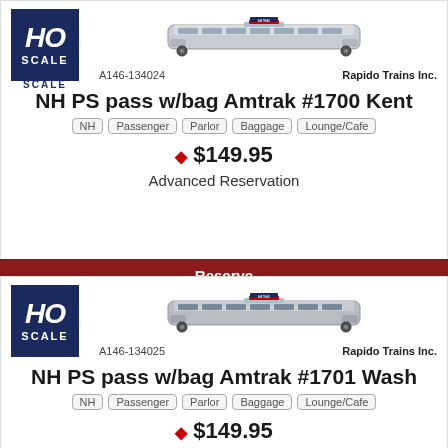[Figure (illustration): HO Scale badge logo - dark blue square with HO in white italic bold and SCALE text below]
[Figure (photo): Side view of Amtrak passenger rail car model in silver/grey livery]
A146-134024
Rapido Trains Inc.
NH PS pass w/bag Amtrak #1700 Kent
NH
Passenger
Parlor
Baggage
Lounge/Cafe
♦ $149.95
Advanced Reservation
Reserve
[Figure (illustration): HO Scale badge logo - dark blue square with HO in white italic bold and SCALE text below]
[Figure (photo): Side view of Amtrak passenger rail car model in silver/grey livery]
A146-134025
Rapido Trains Inc.
NH PS pass w/bag Amtrak #1701 Wash
NH
Passenger
Parlor
Baggage
Lounge/Cafe
♦ $149.95
Advanced Reservation